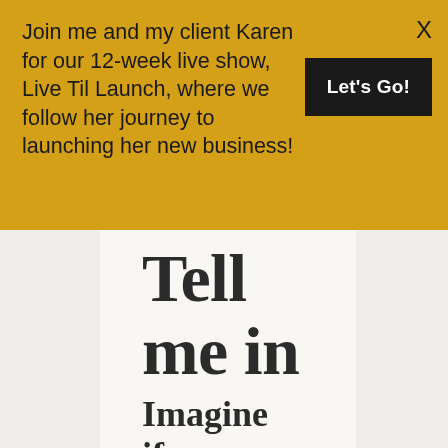Join me and my client Karen for our 12-week live show, Live Til Launch, where we follow her journey to launching her new business!
X
Let's Go!
Tell me in the comments...
Imagine if we